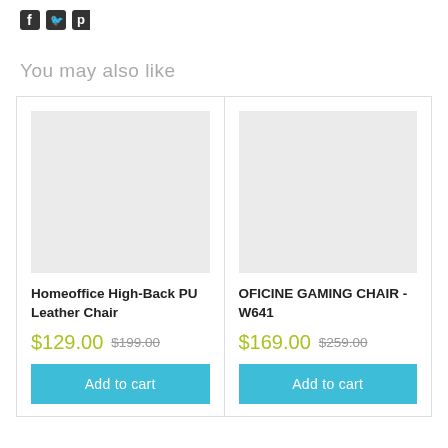[Figure (illustration): Social media sharing icons (Facebook, Twitter/bird, Pinterest) shown at top of page]
You may also like
Homeoffice High-Back PU Leather Chair
$129.00 $199.00
Add to cart
OFICINE GAMING CHAIR - W641
$169.00 $259.00
Add to cart